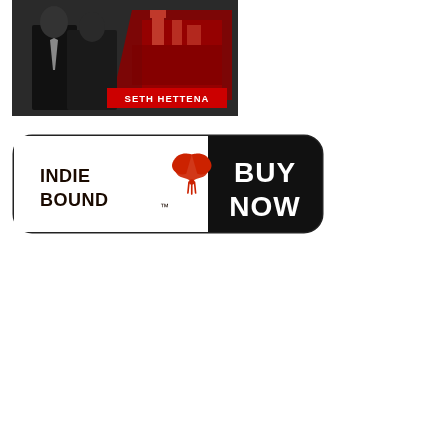[Figure (photo): Book cover image showing two men in suits against a dark background with a red castle/Kremlin-like structure, with text 'SETH HETTENA' in red and white]
[Figure (logo): IndieBound 'BUY NOW' button logo: white left section with IndieBound logo and red bird/wheat graphic, black right section with 'BUY NOW' in bold white text, rounded rectangle border]